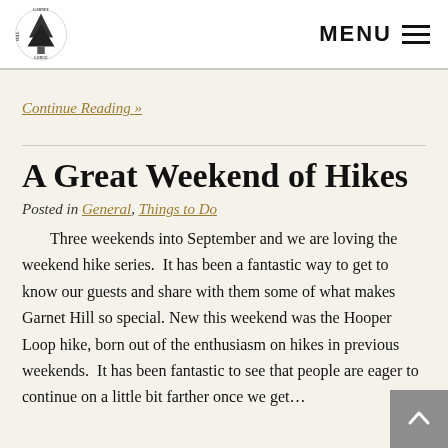Garnet Hill Lodge logo | MENU
Continue Reading »
A Great Weekend of Hikes
Posted in General, Things to Do
Three weekends into September and we are loving the weekend hike series.  It has been a fantastic way to get to know our guests and share with them some of what makes Garnet Hill so special. New this weekend was the Hooper Loop hike, born out of the enthusiasm on hikes in previous weekends.  It has been fantastic to see that people are eager to continue on a little bit farther once we get…